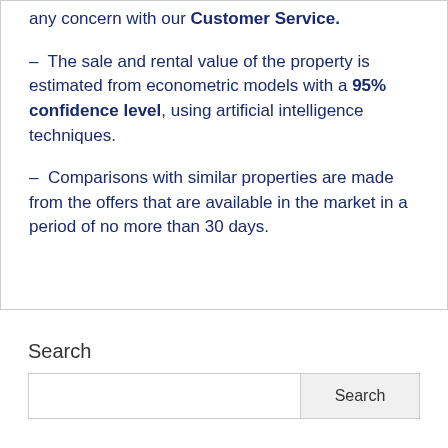any concern with our Customer Service.
– The sale and rental value of the property is estimated from econometric models with a 95% confidence level, using artificial intelligence techniques.
– Comparisons with similar properties are made from the offers that are available in the market in a period of no more than 30 days.
Search